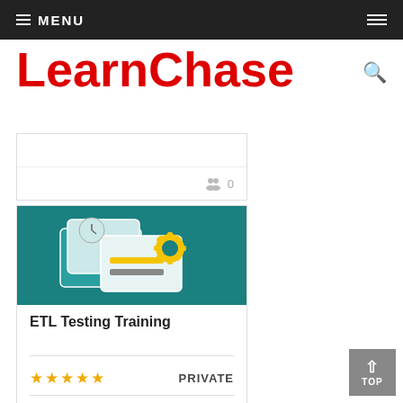MENU
[Figure (logo): LearnChase logo in red bold text]
[Figure (illustration): Card with people icon showing 0 students (partial top card)]
[Figure (illustration): ETL Testing Training course card with teal background showing computer screens with settings gear icon]
ETL Testing Training
PRIVATE
0